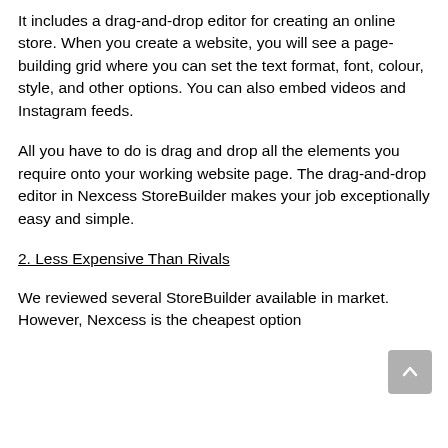It includes a drag-and-drop editor for creating an online store. When you create a website, you will see a page-building grid where you can set the text format, font, colour, style, and other options. You can also embed videos and Instagram feeds.
All you have to do is drag and drop all the elements you require onto your working website page. The drag-and-drop editor in Nexcess StoreBuilder makes your job exceptionally easy and simple.
2. Less Expensive Than Rivals
We reviewed several StoreBuilder available in market. However, Nexcess is the cheapest option